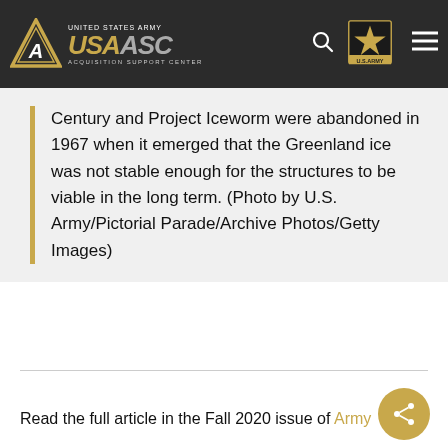UNITED STATES ARMY USAASC ACQUISITION SUPPORT CENTER
Century and Project Iceworm were abandoned in 1967 when it emerged that the Greenland ice was not stable enough for the structures to be viable in the long term. (Photo by U.S. Army/Pictorial Parade/Archive Photos/Getty Images)
Read the full article in the Fall 2020 issue of Army AL&T magazine.